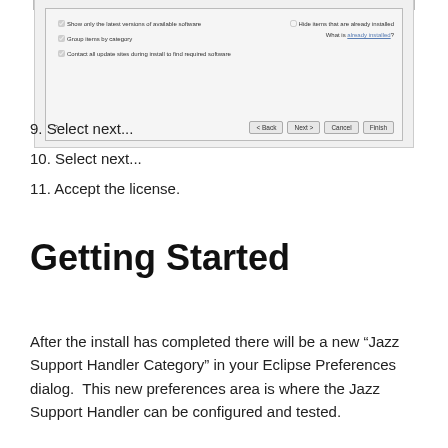[Figure (screenshot): Eclipse software install dialog showing checkboxes: 'Show only the latest versions of available software', 'Group items by category', 'Contact all update sites during install to find required software', and 'Hide items that are already installed', 'What is already installed?' link. Navigation buttons: Back, Next, Cancel, Finish.]
9. Select next...
10. Select next...
11. Accept the license.
Getting Started
After the install has completed there will be a new “Jazz Support Handler Category” in your Eclipse Preferences dialog.  This new preferences area is where the Jazz Support Handler can be configured and tested.